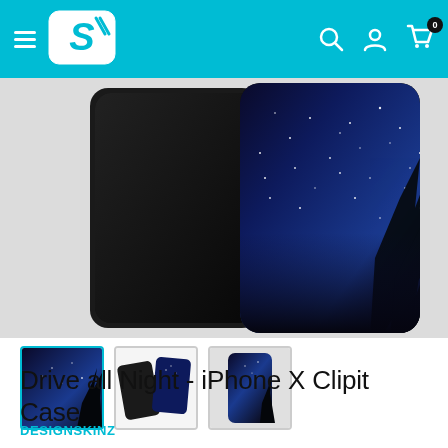DesignSkinz navigation header with logo, search, account, and cart icons
[Figure (photo): Two iPhone X cases displaying a night sky / starry tree silhouette design (Drive all Night), showing front and back views against a light grey background]
[Figure (photo): Three product thumbnail images of the Drive all Night iPhone X Clipit Case; first thumbnail is selected (highlighted with cyan border)]
Drive all Night - iPhone X Clipit Case
DESIGNSKINZ